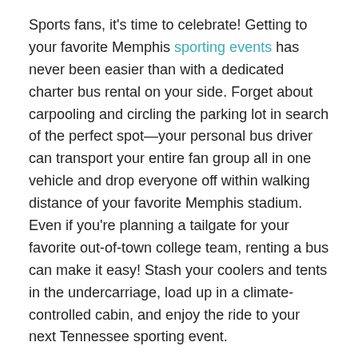Sports fans, it's time to celebrate! Getting to your favorite Memphis sporting events has never been easier than with a dedicated charter bus rental on your side. Forget about carpooling and circling the parking lot in search of the perfect spot—your personal bus driver can transport your entire fan group all in one vehicle and drop everyone off within walking distance of your favorite Memphis stadium. Even if you're planning a tailgate for your favorite out-of-town college team, renting a bus can make it easy! Stash your coolers and tents in the undercarriage, load up in a climate-controlled cabin, and enjoy the ride to your next Tennessee sporting event.
Rent a Memphis Charter Bus Today
Even if you have a few questions before you're ready to hit